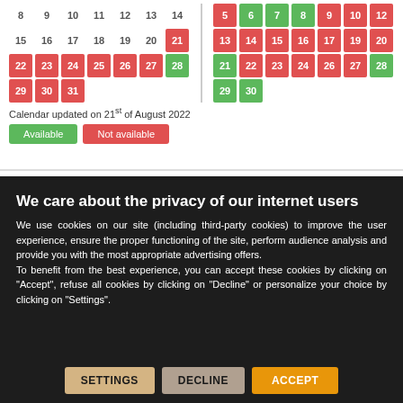[Figure (other): Availability calendar showing dates in August with green (available) and red (not available) color-coded cells across two calendar columns]
Calendar updated on 21st of August 2022
Available | Not available (legend buttons)
We care about the privacy of our internet users
We use cookies on our site (including third-party cookies) to improve the user experience, ensure the proper functioning of the site, perform audience analysis and provide you with the most appropriate advertising offers.
To benefit from the best experience, you can accept these cookies by clicking on "Accept", refuse all cookies by clicking on "Decline" or personalize your choice by clicking on "Settings".
SETTINGS | DECLINE | ACCEPT